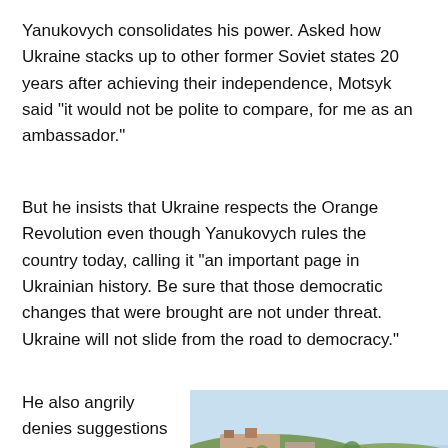Yanukovych consolidates his power. Asked how Ukraine stacks up to other former Soviet states 20 years after achieving their independence, Motsyk said “it would not be polite to compare, for me as an ambassador.”
But he insists that Ukraine respects the Orange Revolution even though Yanukovych rules the country today, calling it “an important page in Ukrainian history. Be sure that those democratic changes that were brought are not under threat. Ukraine will not slide from the road to democracy.”
He also angrily denies suggestions that Ukraine
[Figure (photo): Aerial or elevated view of a port city with ships docked at a harbor, cranes visible, buildings on a hillside with green trees in the background and blue sky above.]